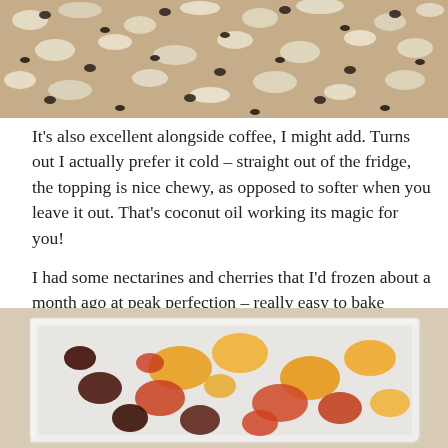[Figure (photo): Close-up photo of granola or crumble topping with white and dark pieces, shot from above]
It's also excellent alongside coffee, I might add. Turns out I actually prefer it cold – straight out of the fridge, the topping is nice chewy, as opposed to softer when you leave it out. That's coconut oil working its magic for you!
I had some nectarines and cherries that I'd frozen about a month ago at peak perfection – really easy to bake straight from frozen for this, but be warned it will be super juicy.
[Figure (photo): Photo of a white baking dish containing chopped nectarines and cherries, showing yellow, red, and dark fruit pieces]